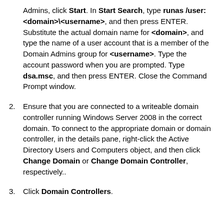Admins, click Start. In Start Search, type runas /user: <domain>\<username>, and then press ENTER. Substitute the actual domain name for <domain>, and type the name of a user account that is a member of the Domain Admins group for <username>. Type the account password when you are prompted. Type dsa.msc, and then press ENTER. Close the Command Prompt window.
2. Ensure that you are connected to a writeable domain controller running Windows Server 2008 in the correct domain. To connect to the appropriate domain or domain controller, in the details pane, right-click the Active Directory Users and Computers object, and then click Change Domain or Change Domain Controller, respectively..
3. Click Domain Controllers.